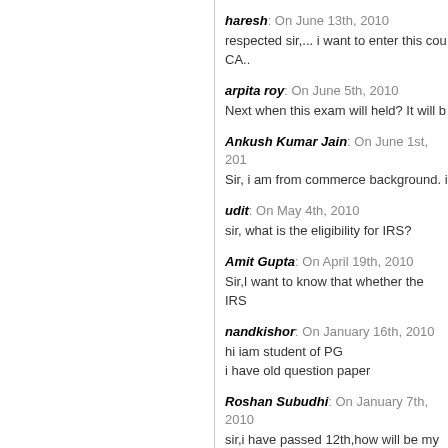haresh: On June 13th, 2010
respected sir,... i want to enter this cou CA..
arpita roy: On June 5th, 2010
Next when this exam will held? It will b
Ankush Kumar Jain: On June 1st, 201
Sir, i am from commerce background. i
udit: On May 4th, 2010
sir, what is the eligibility for IRS?
Amit Gupta: On April 19th, 2010
Sir,I want to know that whether the IRS
nandkishor: On January 16th, 2010
hi iam student of PG
i have old question paper
Roshan Subudhi: On January 7th, 2010
sir,i have passed 12th,how will be my p
ruben: On December 9th, 2009
Hello, is there any separate exam for i
Pradeep kumar Biswal: On Decembe